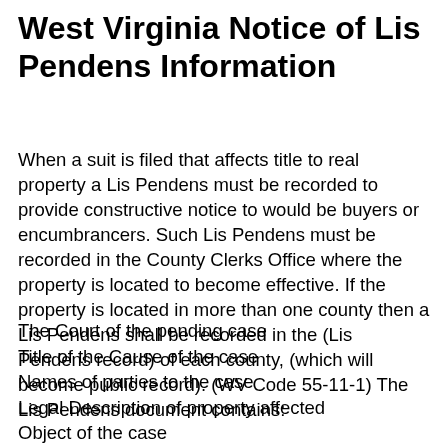West Virginia Notice of Lis Pendens Information
When a suit is filed that affects title to real property a Lis Pendens must be recorded to provide constructive notice to would be buyers or encumbrancers. Such Lis Pendens must be recorded in the County Clerks Office where the property is located to become effective. If the property is located in more than one county then a Lis Pendens shall be recorded in the (Lis Pendens record) of each county, (which will become public record). (WV Code 55-11-1) The Lis Pendens document contains:
The Court of the pending case
Title of the Cause of the case
Names of parties to the case
Legal Description of property affected
Object of the case
Names of the parties whose estate is intended